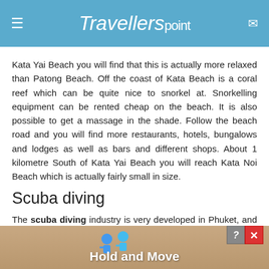Travellerspoint
Kata Yai Beach you will find that this is actually more relaxed than Patong Beach. Off the coast of Kata Beach is a coral reef which can be quite nice to snorkel at. Snorkelling equipment can be rented cheap on the beach. It is also possible to get a massage in the shade. Follow the beach road and you will find more restaurants, hotels, bungalows and lodges as well as bars and different shops. About 1 kilometre South of Kata Yai Beach you will reach Kata Noi Beach which is actually fairly small in size.
Scuba diving
The scuba diving industry is very developed in Phuket, and more than 60 tour operators can be found in Patong, Karon and Kata Beaches. It is possible to do all scuba diving courses from introduction dives and beginners level certificates to professional levels of almost all scuba diving...dy you sh...ng
[Figure (other): Advertisement banner with two animated figures and text 'Hold and Move' with close/help buttons]